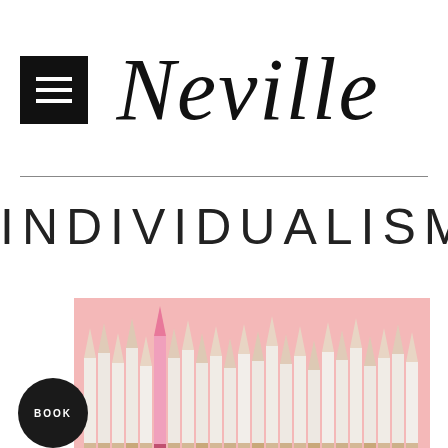Neville
INDIVIDUALISM
[Figure (photo): Pink background with pencils arranged in a row, one pink pencil standing taller than the rest (white pencils), symbolizing individualism.]
BOOK